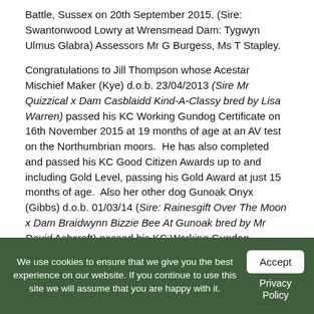Battle, Sussex on 20th September 2015. (Sire: Swantonwood Lowry at Wrensmead Dam: Tygwyn Ulmus Glabra) Assessors Mr G Burgess, Ms T Stapley.
Congratulations to Jill Thompson whose Acestar Mischief Maker (Kye) d.o.b. 23/04/2013 (Sire Mr Quizzical x Dam Casblaidd Kind-A-Classy bred by Lisa Warren) passed his KC Working Gundog Certificate on 16th November 2015 at 19 months of age at an AV test on the Northumbrian moors. He has also completed and passed his KC Good Citizen Awards up to and including Gold Level, passing his Gold Award at just 15 months of age. Also her other dog Gunoak Onyx (Gibbs) d.o.b. 01/03/14 (Sire: Rainesgift Over The Moon x Dam Braidwynn Bizzie Bee At Gunoak bred by Mr David Ashcroft) passed his KC Working Gundog Certificate on the 20th November 2015 at just short of 21 months of age at an AV test in Marlborough. He has also completed and passed his KC Good Citizen Awards up to and including Gold Award at 6 months of age. Photographs of both these clever dogs can be found in the gallery.
We use cookies to ensure that we give you the best experience on our website. If you continue to use this site we will assume that you are happy with it.